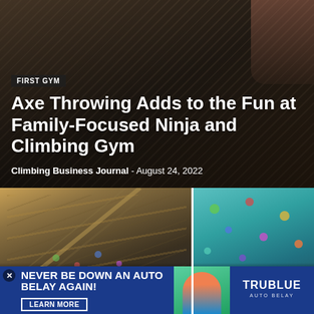[Figure (photo): Hero background photo of a climbing/ninja gym interior with a person in a striped shirt visible]
FIRST GYM
Axe Throwing Adds to the Fun at Family-Focused Ninja and Climbing Gym
Climbing Business Journal  -  August 24, 2022
[Figure (photo): Interior photo of a climbing gym showing ceiling truss structure and colorful climbing wall holds]
FIRST GYM
Former ABC Kids Owner Opens Facility in Colorado Ski Town
[Figure (photo): Photo of a climbing wall with colorful holds and a person climbing, teal/turquoise wall background]
FIRST GYM
Family-Ow... of Slowing...
[Figure (infographic): Advertisement banner for TruBlue Auto Belay with blue background, text NEVER BE DOWN AN AUTO BELAY AGAIN!, LEARN MORE button, TruBlue logo, and photo of person at climbing wall]